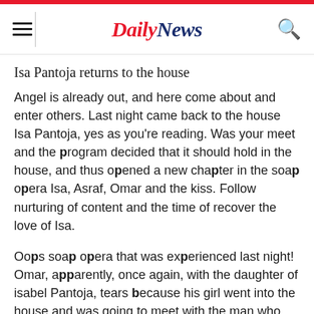Daily News
Isa Pantoja returns to the house
Angel is already out, and here come about and enter others. Last night came back to the house Isa Pantoja, yes as you're reading. Was your meet and the program decided that it should hold in the house, and thus opened a new chapter in the soap opera Isa, Asraf, Omar and the kiss. Follow nurturing of content and the time of recover the love of Isa.
Oops soap opera that was experienced last night! Omar, apparently, once again, with the daughter of isabel Pantoja, tears because his girl went into the house and was going to meet with the man who may or may not have an 'affair' (or you believe her or